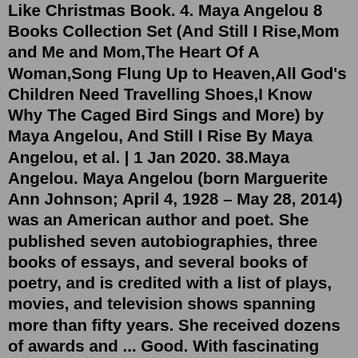Like Christmas Book. 4. Maya Angelou 8 Books Collection Set (And Still I Rise,Mom and Me and Mom,The Heart Of A Woman,Song Flung Up to Heaven,All God's Children Need Travelling Shoes,I Know Why The Caged Bird Sings and More) by Maya Angelou, And Still I Rise By Maya Angelou, et al. | 1 Jan 2020. 38.Maya Angelou. Maya Angelou (born Marguerite Ann Johnson; April 4, 1928 – May 28, 2014) was an American author and poet. She published seven autobiographies, three books of essays, and several books of poetry, and is credited with a list of plays, movies, and television shows spanning more than fifty years. She received dozens of awards and ... Good. With fascinating insights into Maya Angelou's life and creativity and an examination of her recurring themes and techniques this excellent study provides 'a fresh and unusual insight into the author and her method' Jessica Mitford. Trade paperback (US). Glued binding. 176 p. Contact This Seller; Hide Details Mar 25, 2021 · image source. Gather Together in My Name is the